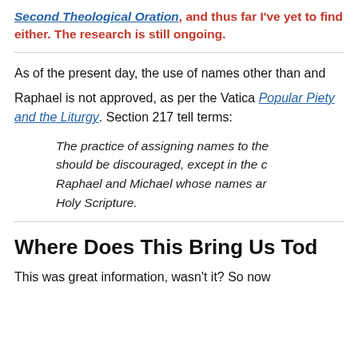Second Theological Oration, and thus far I've yet to find either. The research is still ongoing.
As of the present day, the use of names other than and Raphael is not approved, as per the Vatican Popular Piety and the Liturgy. Section 217 tell terms:
The practice of assigning names to the should be discouraged, except in the c Raphael and Michael whose names ar Holy Scripture.
Where Does This Bring Us Tod
This was great information, wasn't it? So now